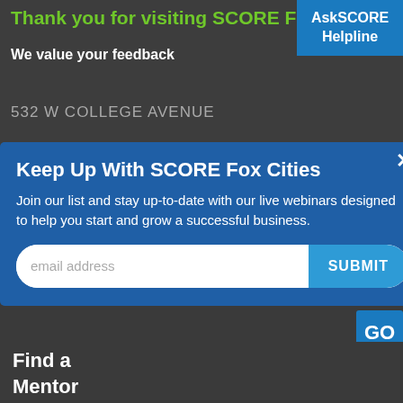Thank you for visiting SCORE Fox C
AskSCORE Helpline
We value your feedback
532 W COLLEGE AVENUE
Keep Up With SCORE Fox Cities
Join our list and stay up-to-date with our live webinars designed to help you start and grow a successful business.
age
GO
Find a
Mentor